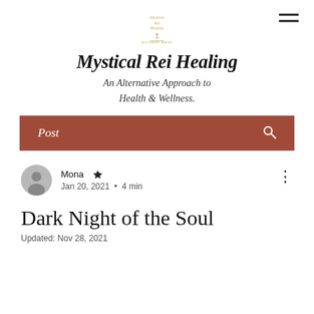Mystical Rei Healing
Mystical Rei Healing
An Alternative Approach to Health & Wellness.
Post
Mona  Jan 20, 2021  •  4 min
Dark Night of the Soul
Updated: Nov 28, 2021